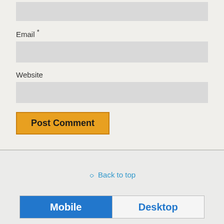[Figure (screenshot): Empty input field (top, partially visible)]
Email *
[Figure (screenshot): Email input field (empty, light gray background)]
Website
[Figure (screenshot): Website input field (empty, light gray background)]
[Figure (screenshot): Post Comment button (orange/amber background)]
Back to top
[Figure (screenshot): Mobile/Desktop toggle bar with Mobile selected (blue) and Desktop unselected]
[Figure (screenshot): Protected by badge (partially visible at bottom)]